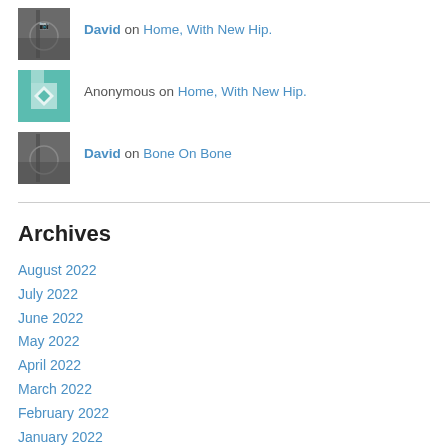David on Home, With New Hip.
Anonymous on Home, With New Hip.
David on Bone On Bone
Archives
August 2022
July 2022
June 2022
May 2022
April 2022
March 2022
February 2022
January 2022
December 2021